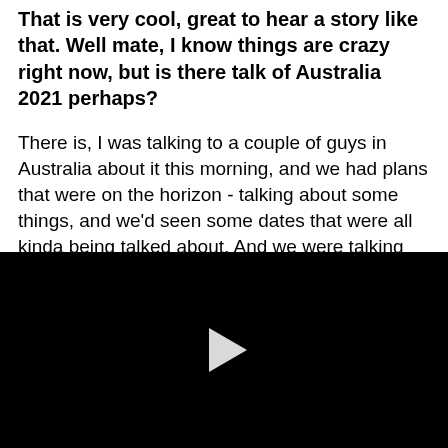That is very cool, great to hear a story like that. Well mate, I know things are crazy right now, but is there talk of Australia 2021 perhaps?
There is, I was talking to a couple of guys in Australia about it this morning, and we had plans that were on the horizon - talking about some things, and we'd seen some dates that were all kinda being talked about. And we were talking about those dates three weeks ago, so it was all supposed to happen, but now it's all up in the air, but our goal on this album cycle IS to go to Australia and play there. The last time we were there was Soundwave in 2010 I
[Figure (other): Black video player with a white play button triangle in the center]